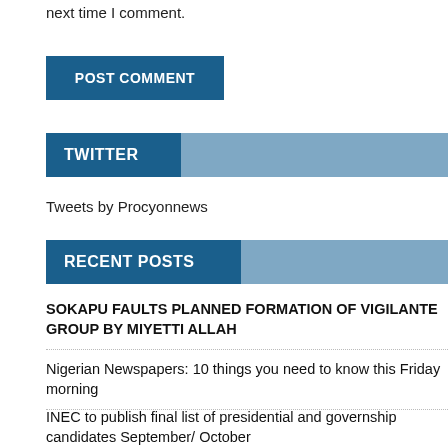next time I comment.
POST COMMENT
TWITTER
Tweets by Procyonnews
RECENT POSTS
SOKAPU FAULTS PLANNED FORMATION OF VIGILANTE GROUP BY MIYETTI ALLAH
Nigerian Newspapers: 10 things you need to know this Friday morning
INEC to publish final list of presidential and governship candidates September/ October
Court stops NBC from shutting down indebted broadcast